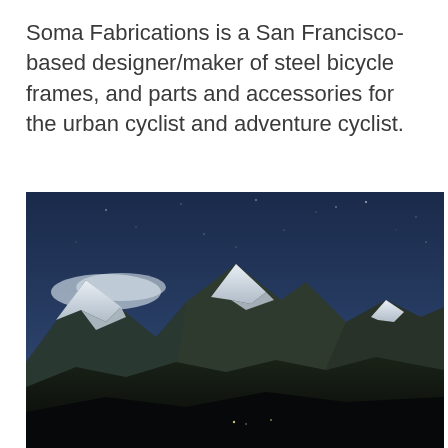Soma Fabrications is a San Francisco-based designer/maker of steel bicycle frames, and parts and accessories for the urban cyclist and adventure cyclist.
[Figure (photo): Night-time or dusk photograph of snow-capped mountain peaks under a dark blue starry sky, with dark forested hillsides in the foreground.]